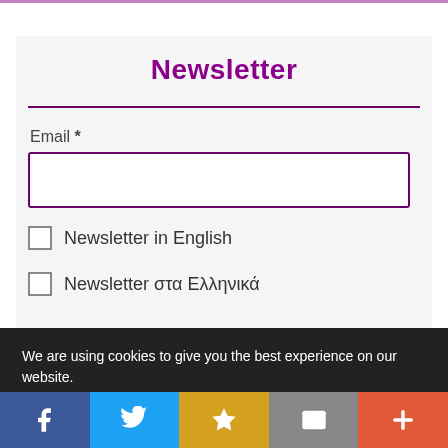Newsletter
Email *
Newsletter in English
Newsletter στα Ελληνικά
Sign Up!
We are using cookies to give you the best experience on our website.
You can find out more about which cookies we are using or switch them off in settings.
[Figure (infographic): Social media sharing bar with Facebook, Twitter, Favorites (star), Email, and More (+) buttons]